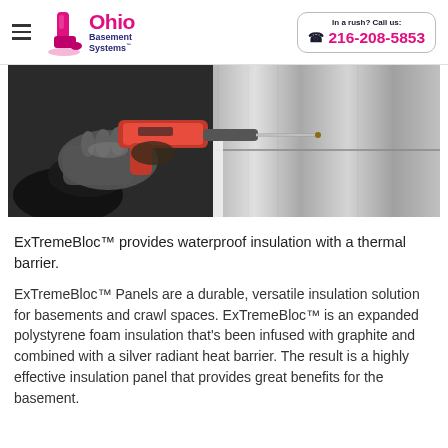Ohio Basement Systems — In a rush? Call us: 216-208-5853
[Figure (photo): A worker wearing gloves using a red drill/screw gun to fasten insulation panels to a wall; the wall is covered with silver reflective insulation material.]
ExTremeBloc™ provides waterproof insulation with a thermal barrier.
ExTremeBloc™ Panels are a durable, versatile insulation solution for basements and crawl spaces. ExTremeBloc™ is an expanded polystyrene foam insulation that's been infused with graphite and combined with a silver radiant heat barrier. The result is a highly effective insulation panel that provides great benefits for the basement.